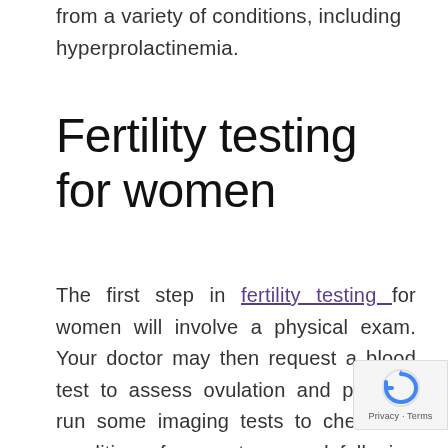from a variety of conditions, including hyperprolactinemia.
Fertility testing for women
The first step in fertility testing for women will involve a physical exam. Your doctor may then request a blood test to assess ovulation and possibly run some imaging tests to check the condition of your uterus and fallopian tubes. Your hormone levels may also be checked. Additionally, your partner will also be tested.